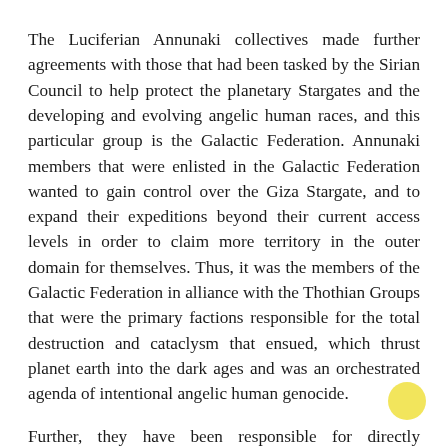The Luciferian Annunaki collectives made further agreements with those that had been tasked by the Sirian Council to help protect the planetary Stargates and the developing and evolving angelic human races, and this particular group is the Galactic Federation. Annunaki members that were enlisted in the Galactic Federation wanted to gain control over the Giza Stargate, and to expand their expeditions beyond their current access levels in order to claim more territory in the outer domain for themselves. Thus, it was the members of the Galactic Federation in alliance with the Thothian Groups that were the primary factions responsible for the total destruction and cataclysm that ensued, which thrust planet earth into the dark ages and was an orchestrated agenda of intentional angelic human genocide.
Further, they have been responsible for directly concealing the knowledge of this fact, through the